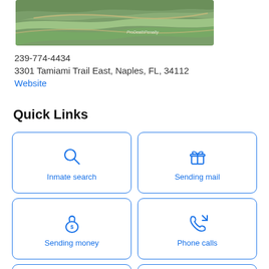[Figure (photo): Aerial/satellite view of a landscape with roads and greenery, watermarked with 'ProDeathPenalty']
239-774-4434
3301 Tamiami Trail East, Naples, FL, 34112
Website
Quick Links
Inmate search
Sending mail
Sending money
Phone calls